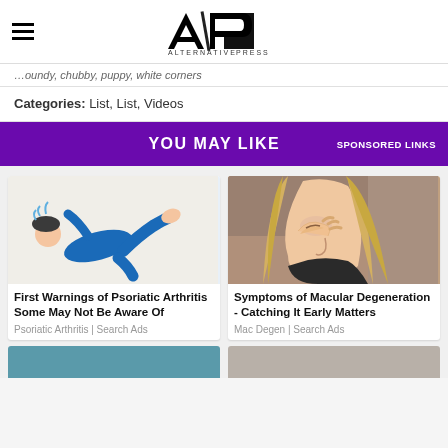Alternative Press - AP
…oundy, chubby, puppy, white corners
Categories: List, List, Videos
YOU MAY LIKE  SPONSORED LINKS
[Figure (illustration): Illustration of a person in a blue suit lying flat on their back with arms and legs in the air]
First Warnings of Psoriatic Arthritis Some May Not Be Aware Of
Psoriatic Arthritis | Search Ads
[Figure (photo): Photo of a blonde woman rubbing her eye, appearing to be in discomfort]
Symptoms of Macular Degeneration - Catching It Early Matters
Mac Degen | Search Ads